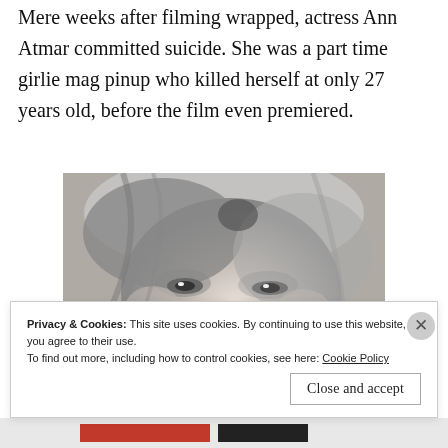Mere weeks after filming wrapped, actress Ann Atmar committed suicide. She was a part time girlie mag pinup who killed herself at only 27 years old, before the film even premiered.
[Figure (photo): Black and white close-up photograph of a woman's face with light hair, looking slightly to the side.]
Privacy & Cookies: This site uses cookies. By continuing to use this website, you agree to their use.
To find out more, including how to control cookies, see here: Cookie Policy